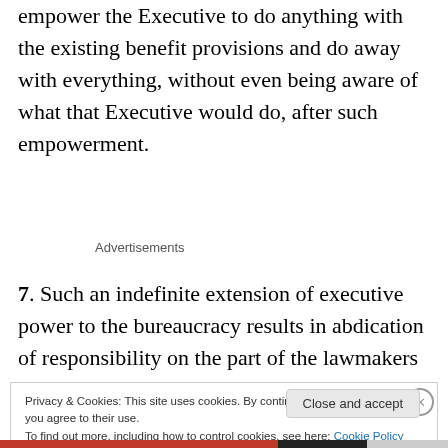empower the Executive to do anything with the existing benefit provisions and do away with everything, without even being aware of what that Executive would do, after such empowerment.
Advertisements
7. Such an indefinite extension of executive power to the bureaucracy results in abdication of responsibility on the part of the lawmakers in the Parliament. It is the duty of
Privacy & Cookies: This site uses cookies. By continuing to use this website, you agree to their use.
To find out more, including how to control cookies, see here: Cookie Policy